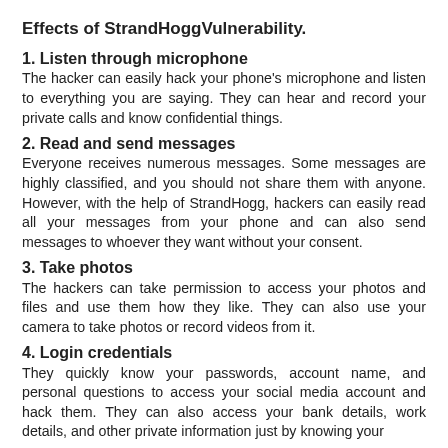Effects of StrandHoggVulnerability.
1. Listen through microphone
The hacker can easily hack your phone's microphone and listen to everything you are saying. They can hear and record your private calls and know confidential things.
2. Read and send messages
Everyone receives numerous messages. Some messages are highly classified, and you should not share them with anyone. However, with the help of StrandHogg, hackers can easily read all your messages from your phone and can also send messages to whoever they want without your consent.
3. Take photos
The hackers can take permission to access your photos and files and use them how they like. They can also use your camera to take photos or record videos from it.
4. Login credentials
They quickly know your passwords, account name, and personal questions to access your social media account and hack them. They can also access your bank details, work details, and other private information just by knowing your